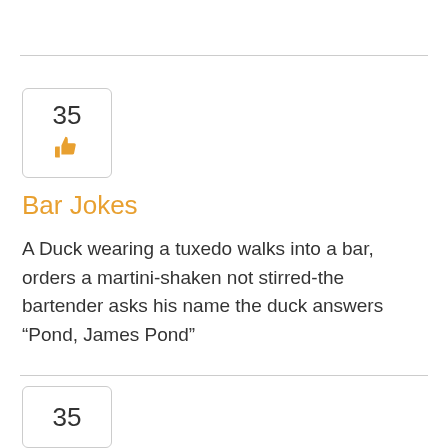[Figure (infographic): Vote/like box showing number 35 with a golden thumbs-up icon inside a rounded rectangle border]
Bar Jokes
A Duck wearing a tuxedo walks into a bar, orders a martini-shaken not stirred-the bartender asks his name the duck answers “Pond, James Pond”